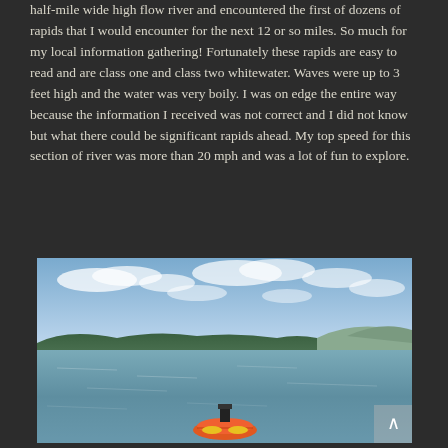half-mile wide high flow river and encountered the first of dozens of rapids that I would encounter for the next 12 or so miles. So much for my local information gathering! Fortunately these rapids are easy to read and are class one and class two whitewater. Waves were up to 3 feet high and the water was very boily. I was on edge the entire way because the information I received was not correct and I did not know but what there could be significant rapids ahead. My top speed for this section of river was more than 20 mph and was a lot of fun to explore.
[Figure (photo): Photo of a kayak on a wide calm river or lake with a treeline on the horizon and blue sky with clouds above. The kayak is orange with a GoPro camera mount visible, viewed from behind.]